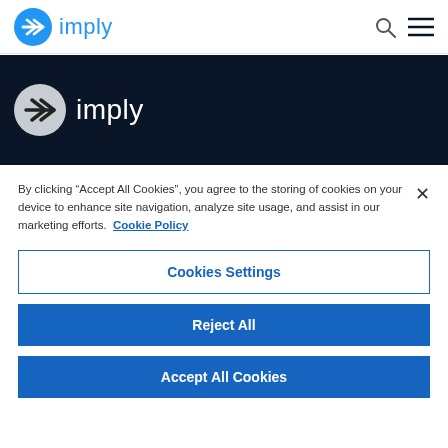[Figure (logo): Imply logo in top navigation bar — blue circle with white double-arrow, blue 'imply' text]
[Figure (logo): Imply logo on dark navy hero banner — grey circle with white double-arrow, white 'imply' text]
By clicking “Accept All Cookies”, you agree to the storing of cookies on your device to enhance site navigation, analyze site usage, and assist in our marketing efforts.  Cookie Policy
Cookies Settings
Reject All
Accept All Cookies